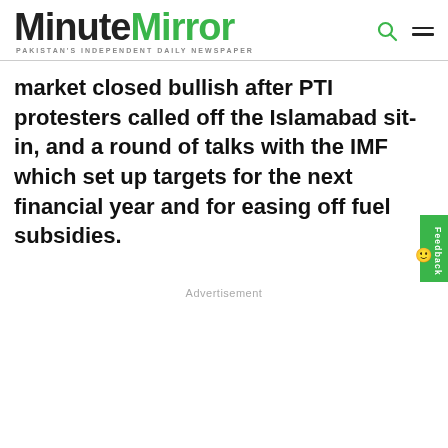MinuteMirror — PAKISTAN'S INDEPENDENT DAILY NEWSPAPER
market closed bullish after PTI protesters called off the Islamabad sit-in, and a round of talks with the IMF which set up targets for the next financial year and for easing off fuel subsidies.
Advertisement